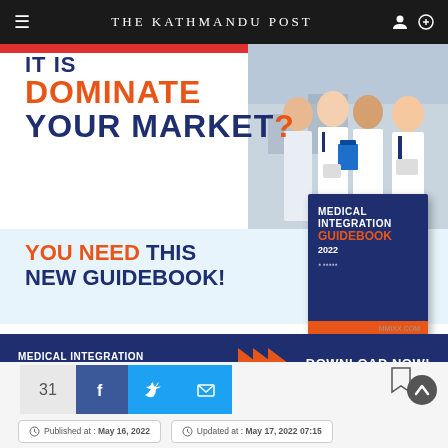THE KATHMANDU POST
[Figure (infographic): Advertisement for Medical Integration Guidebook 2022. Shows text 'DOMINATE YOUR MARKET? YOU NEED THIS NEW GUIDEBOOK!' with an image of medical professionals in white coats and a book cover for 'Medical Integration Guidebook 2022'. Bottom dark navy banner reads 'MEDICAL INTEGRATION GUIDEBOOK 2022 DOWNLOAD NOW!' with orange arrows.]
31
Published at : May 16, 2022
Updated at : May 17, 2022 07:15